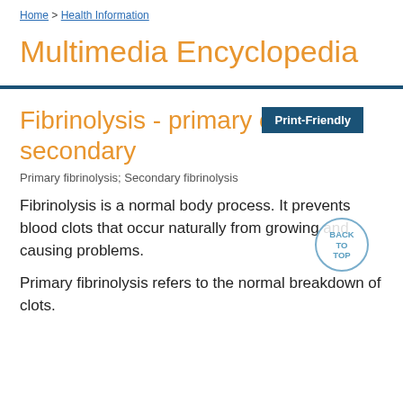Home > Health Information
Multimedia Encyclopedia
Fibrinolysis - primary or secondary
Primary fibrinolysis; Secondary fibrinolysis
Fibrinolysis is a normal body process. It prevents blood clots that occur naturally from growing and causing problems.
Primary fibrinolysis refers to the normal breakdown of clots.